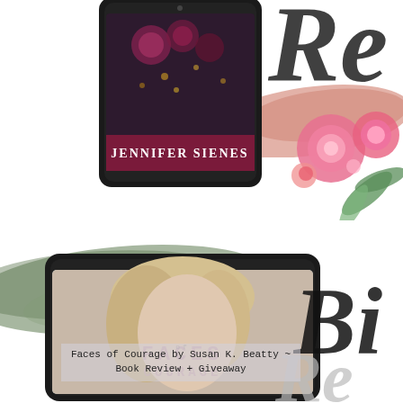[Figure (illustration): Tablet device mockup showing a book cover with dark floral background and author name 'JENNIFER SIENES']
[Figure (illustration): Pink/mauve watercolor brush stroke in top right area]
[Figure (illustration): Watercolor pink floral arrangement with green leaves in top right corner]
[Figure (illustration): Partial large italic script letters 'Re' in top right corner]
[Figure (illustration): Olive/sage green watercolor brush stroke across middle-left area]
[Figure (illustration): Tablet device mockup showing book cover 'Faces of Courage' with blonde woman and title text]
[Figure (illustration): Partial large bold italic script letters 'Bi' in right middle area]
[Figure (illustration): Partial large light italic script letters 'Rev' in bottom right]
Faces of Courage by Susan K. Beatty ~ Book Review + Giveaway